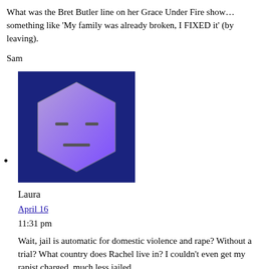What was the Bret Butler line on her Grace Under Fire show…something like ‘My family was already broken, I FIXED it’ (by leaving).

Sam
[Figure (illustration): Avatar image: hexagonal icon with a deadpan face (two horizontal-line eyes and a straight mouth) in purple/violet on a dark blue background]
Laura
April 16
11:31 pm
Wait, jail is automatic for domestic violence and rape? Without a trial? What country does Rachel live in? I couldn’t even get my rapist charged, much less jailed.

BTW, loved the “unlike the unborn” comment Rachel had…..throw that pro-life agenda in there all sneaky-like.
[Figure (illustration): Partial avatar image at bottom of page, appears to show a person or character, cropped]